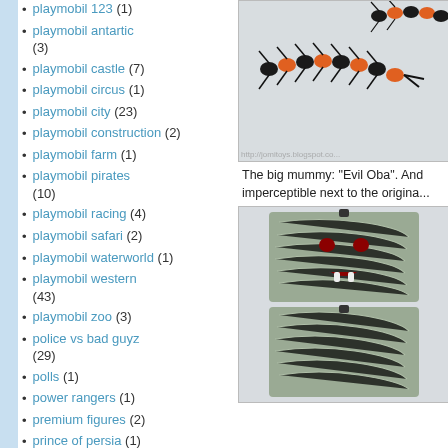playmobil 123 (1)
playmobil antartic (3)
playmobil castle (7)
playmobil circus (1)
playmobil city (23)
playmobil construction (2)
playmobil farm (1)
playmobil pirates (10)
playmobil racing (4)
playmobil safari (2)
playmobil waterworld (1)
playmobil western (43)
playmobil zoo (3)
police vs bad guyz (29)
polls (1)
power rangers (1)
premium figures (2)
prince of persia (1)
[Figure (photo): Black and orange centipede toy figures on white background, jomitoys.blogspot.com watermark]
The big mummy: "Evil Oba". And imperceptible next to the origina...
[Figure (photo): Two views of a mummy figure 'Evil Oba' with grey textured body, red eyes and open mouth with fangs]